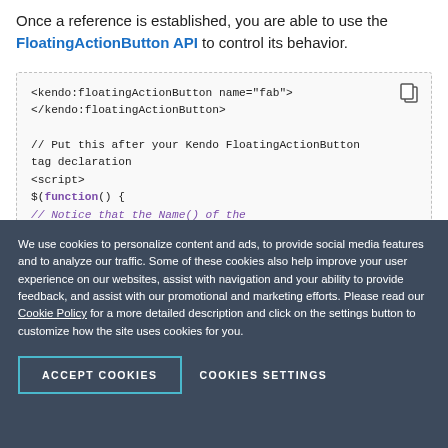Once a reference is established, you are able to use the FloatingActionButton API to control its behavior.
[Figure (screenshot): Code block showing kendo:floatingActionButton tag and JavaScript using $(function() to get client-side instance, with comments about Name() of the floatingactionbutton. Partially visible code due to cookie overlay.]
We use cookies to personalize content and ads, to provide social media features and to analyze our traffic. Some of these cookies also help improve your user experience on our websites, assist with navigation and your ability to provide feedback, and assist with our promotional and marketing efforts. Please read our Cookie Policy for a more detailed description and click on the settings button to customize how the site uses cookies for you.
ACCEPT COOKIES
COOKIES SETTINGS